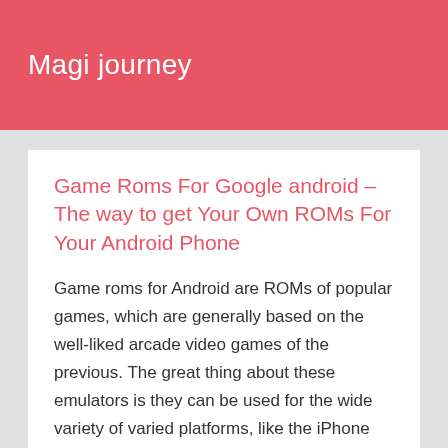Magi journey
Game Roms For Google android – The way to get Your Own ROMs For Your Android Phone
Game roms for Android are ROMs of popular games, which are generally based on the well-liked arcade video games of the previous. The great thing about these emulators is they can be used for the wide variety of varied platforms, like the iPhone plus Windows mobile phones. This article will give you a general idea of how to get your own retro roms for Android. This assumes you find a